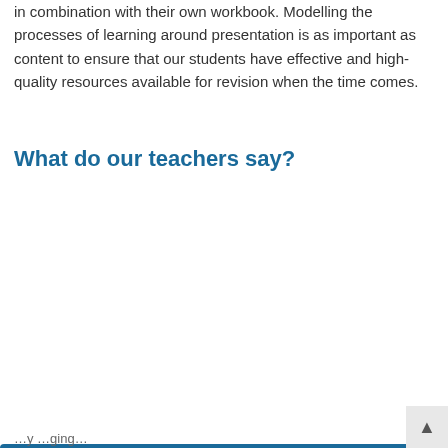in combination with their own workbook. Modelling the processes of learning around presentation is as important as content to ensure that our students have effective and high-quality resources available for revision when the time comes.
What do our teachers say?
[Figure (screenshot): Cookie consent banner overlay with dark blue background. Contains close (×) button, text 'We use cookies to ensure that you get the best experience on this website.', a 'Learn more' underlined link, and two buttons: 'Decline' and 'Accept'.]
...y...ging...